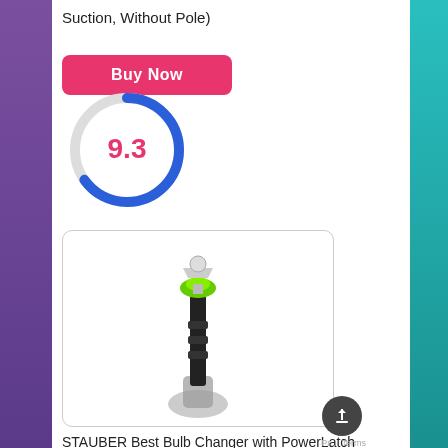Suction, Without Pole)
[Figure (other): Buy Now pink button]
[Figure (infographic): Score circle showing 9.3 in pink text with blue/gray ring gauge]
[Figure (photo): Product photo of STAUBER Best Bulb Changer with PowerLatch Extension Pole, person holding black extending pole with green suction top]
STAUBER Best Bulb Changer with PowerLatch Extension Pole (Large Suction, 4 Foot)